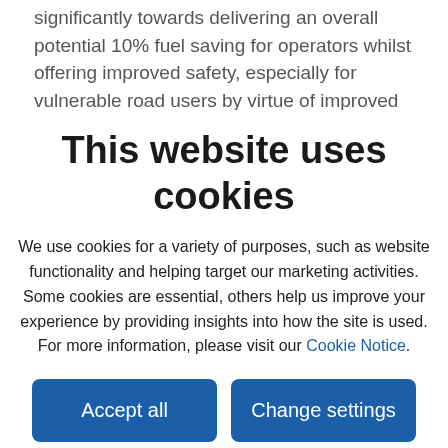significantly towards delivering an overall potential 10% fuel saving for operators whilst offering improved safety, especially for vulnerable road users by virtue of improved direct vision. The new streamlined, elongated cabs also offer increased space, which together with the refined interior and
This website uses cookies
We use cookies for a variety of purposes, such as website functionality and helping target our marketing activities. Some cookies are essential, others help us improve your experience by providing insights into how the site is used. For more information, please visit our Cookie Notice.
Accept all
Change settings